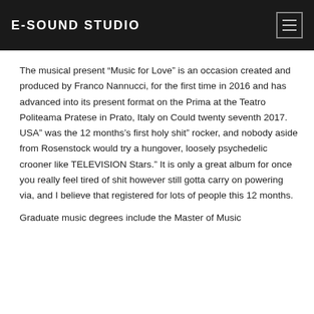E-SOUND STUDIO
The musical present “Music for Love” is an occasion created and produced by Franco Nannucci, for the first time in 2016 and has advanced into its present format on the Prima at the Teatro Politeama Pratese in Prato, Italy on Could twenty seventh 2017. USA” was the 12 months’s first holy shit” rocker, and nobody aside from Rosenstock would try a hungover, loosely psychedelic crooner like TELEVISION Stars.” It is only a great album for once you really feel tired of shit however still gotta carry on powering via, and I believe that registered for lots of people this 12 months.
Graduate music degrees include the Master of Music